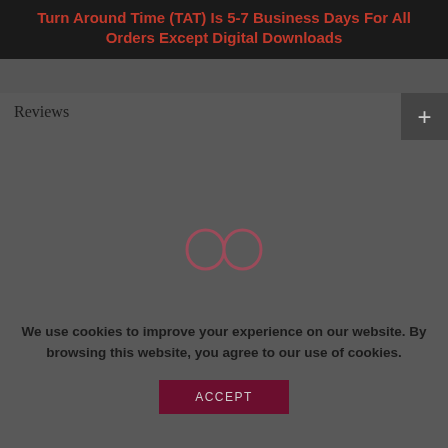Turn Around Time (TAT) Is 5-7 Business Days For All Orders Except Digital Downloads
Reviews
[Figure (other): Infinity symbol (loading spinner) centered in the reviews section area]
We use cookies to improve your experience on our website. By browsing this website, you agree to our use of cookies.